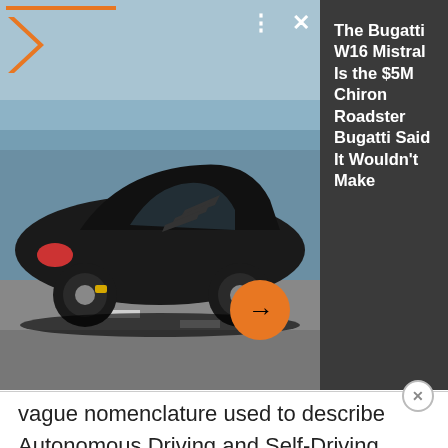[Figure (screenshot): Advertisement banner showing a black Bugatti W16 Mistral roadster driving on a road, with an orange logo/arrow overlay, controls (dots and X), and dark text panel on the right with article title]
The Bugatti W16 Mistral Is the $5M Chiron Roadster Bugatti Said It Wouldn't Make
vague nomenclature used to describe Autonomous Driving and Self-Driving Cars.